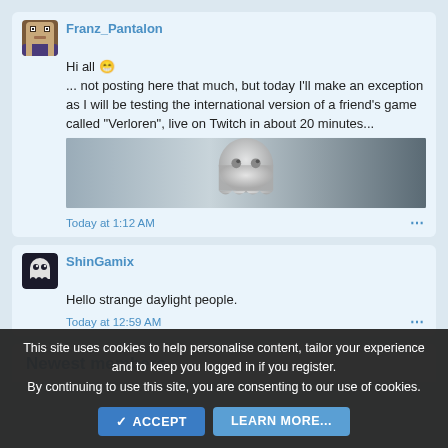Franz_Pantalon
Hi all 😁
... not posting here that much, but today I'll make an exception as I will be testing the international version of a friend's game called "Verloren", live on Twitch in about 20 minutes...
[Figure (screenshot): Dark banner image with a ghost-like white figure silhouette on a grey gradient background]
Today at 1:12 AM
ShinGamix
Hello strange daylight people.
Today at 12:59 AM
Newest members
This site uses cookies to help personalise content, tailor your experience and to keep you logged in if you register.
By continuing to use this site, you are consenting to our use of cookies.